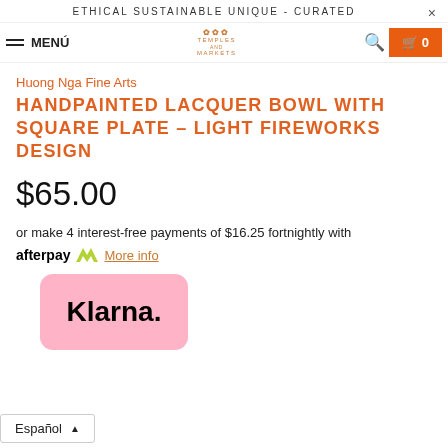ETHICAL SUSTAINABLE UNIQUE - CURATED ×
≡ MENÚ  [Temples and Markets logo]  🔍  🛒 0
Huong Nga Fine Arts
HANDPAINTED LACQUER BOWL WITH SQUARE PLATE - LIGHT FIREWORKS DESIGN
$65.00
or make 4 interest-free payments of $16.25 fortnightly with afterpay More info
[Figure (logo): Klarna logo on pink rounded rectangle background]
Español ▲